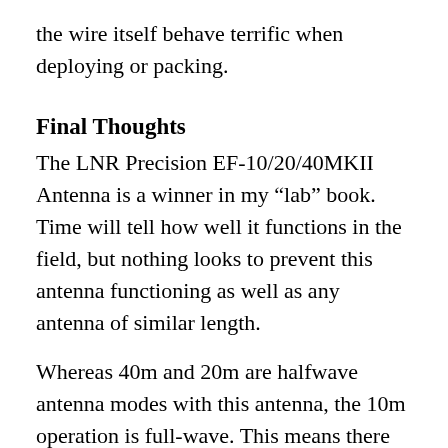the wire itself behave terrific when deploying or packing.
Final Thoughts
The LNR Precision EF-10/20/40MKII Antenna is a winner in my “lab” book. Time will tell how well it functions in the field, but nothing looks to prevent this antenna functioning as well as any antenna of similar length.
Whereas 40m and 20m are halfwave antenna modes with this antenna, the 10m operation is full-wave. This means there will be directional lobes in headings and elevation dependent on how you deploy the antenna. Simulation and experimentation can help understand how this plays out. I’m not sure this makes much difference since